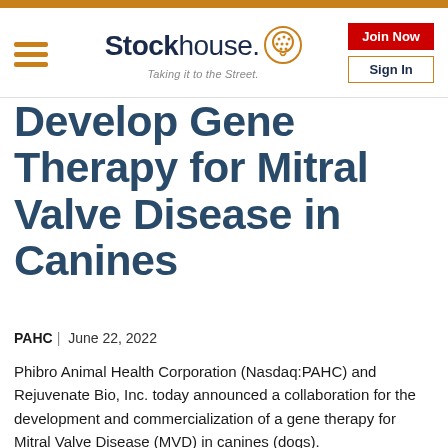Stockhouse — Taking it to the Street.
Develop Gene Therapy for Mitral Valve Disease in Canines
PAHC | June 22, 2022
Phibro Animal Health Corporation (Nasdaq:PAHC) and Rejuvenate Bio, Inc. today announced a collaboration for the development and commercialization of a gene therapy for Mitral Valve Disease (MVD) in canines (dogs).